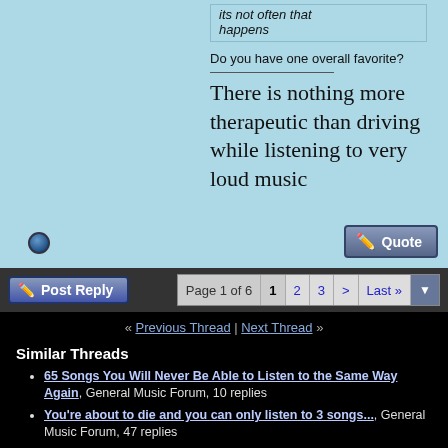its not often that happens
Do you have one overall favorite?
There is nothing more therapeutic than driving while listening to very loud music
Post Reply
Page 1 of 6  1  2  3  >  Last »
« Previous Thread | Next Thread »
Similar Threads
65 Songs You Will Never Be Able to Listen to the Same Way Again, General Music Forum, 10 replies
You're about to die and you can only listen to 3 songs..., General Music Forum, 47 replies
How do you pick songs to listen to?, General Music Forum, 17 replies
5 Rock Songs you listen to the most?, Rock &